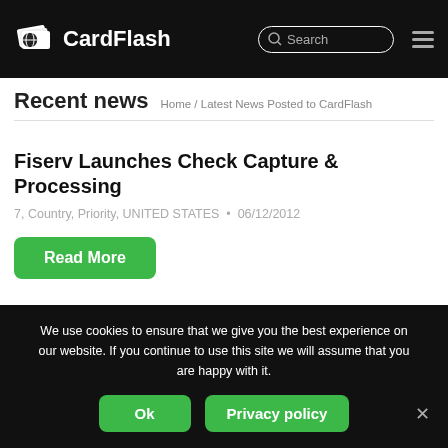CardFlash — Search
Recent news
Home / Latest News Posted to CardFlash
Fiserv Launches Check Capture & Processing
7, Country, Priority, UNITED STATES • 06/12/2012
Read More
We use cookies to ensure that we give you the best experience on our website. If you continue to use this site we will assume that you are happy with it.
Ok   Privacy policy